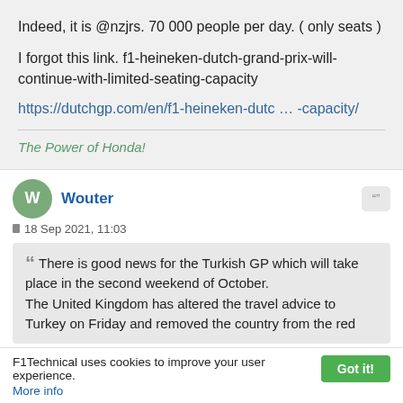Indeed, it is @nzjrs. 70 000 people per day. ( only seats )
I forgot this link. f1-heineken-dutch-grand-prix-will-continue-with-limited-seating-capacity
https://dutchgp.com/en/f1-heineken-dutc … -capacity/
The Power of Honda!
Wouter
18 Sep 2021, 11:03
There is good news for the Turkish GP which will take place in the second weekend of October. The United Kingdom has altered the travel advice to Turkey on Friday and removed the country from the red
F1Technical uses cookies to improve your user experience.
More info